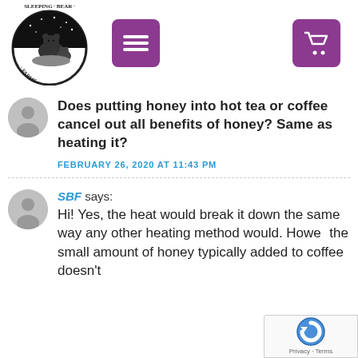[Figure (logo): Sleeping Bear Farms circular logo with bear and cub illustration]
[Figure (other): Purple menu hamburger button and purple shopping cart button in navigation bar]
Does putting honey into hot tea or coffee cancel out all benefits of honey? Same as heating it?
FEBRUARY 26, 2020 AT 11:43 PM
SBF says:
Hi! Yes, the heat would break it down the same way any other heating method would. Howe the small amount of honey typically added to coffee doesn't